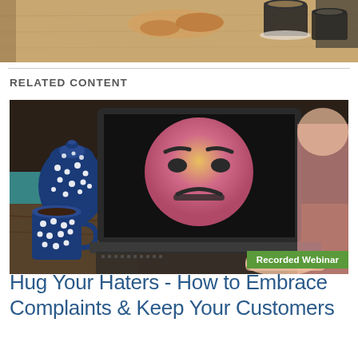[Figure (photo): Top portion of a cafe/coffee table scene with croissants, coffee cups and saucers on a wooden table, partially visible at top of page]
RELATED CONTENT
[Figure (photo): Person in pink shirt typing on a laptop. The laptop screen displays a large angry emoji face (pink/gradient circle with furrowed brows and frowning mouth). On the left side of the table there is a blue patterned ceramic sugar bowl and a matching polka-dot mug of coffee on a teal placemat.]
Hug Your Haters - How to Embrace Complaints & Keep Your Customers